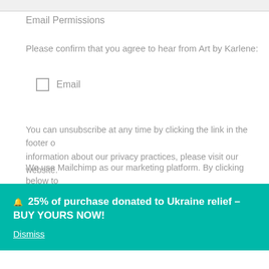Email Permissions
Please confirm that you agree to hear from Art by Karlene:
Email
You can unsubscribe at any time by clicking the link in the footer o... information about our privacy practices, please visit our website.
We use Mailchimp as our marketing platform. By clicking below to... acknowledge that your information will be transferred to Mailchimp...
🔔  25% of purchase donated to Ukraine relief – BUY YOURS NOW!
Dismiss